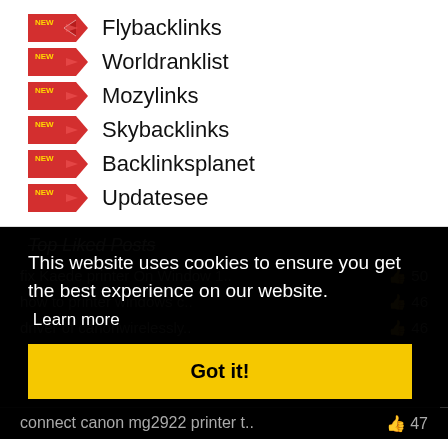Flybacklinks
Worldranklist
Mozylinks
Skybacklinks
Backlinksplanet
Updatesee
Top Liked Posts
This website uses cookies to ensure you get the best experience on our website.
Learn more
Got it!
fix Kaede printer On Window 1.. 50
how to printer windows c.. 46
driver of canonwirelessly.. 46
connect canon mg2922 printer t.. 47